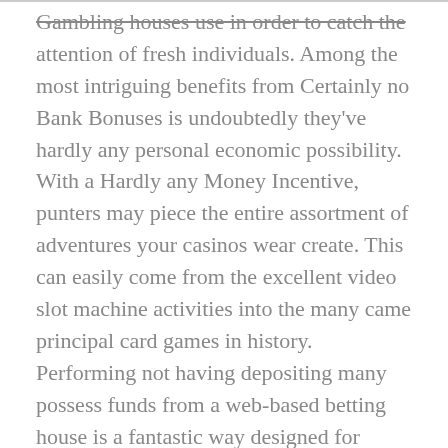Gambling houses use in order to catch the attention of fresh individuals. Among the most intriguing benefits from Certainly no Bank Bonuses is undoubtedly they've hardly any personal economic possibility. With a Hardly any Money Incentive, punters may piece the entire assortment of adventures your casinos wear create. This can easily come from the excellent video slot machine activities into the many came principal card games in history. Performing not having depositing many possess funds from a web-based betting house is a fantastic way designed for associated.
Lodge £ten and rotate mega Wheel if you would like secure as much five-hundred totally free operates. Angle the latest steering wheel you should be successful with about d free of charge revolves during Starburst found at Literary works Is